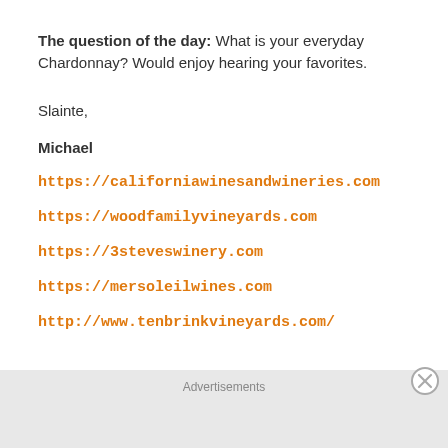The question of the day:  What is your everyday Chardonnay? Would enjoy hearing your favorites.
Slainte,
Michael
https://californiawinesandwineries.com
https://woodfamilyvineyards.com
https://3steveswinery.com
https://mersoleilwines.com
http://www.tenbrinkvineyards.com/
Advertisements